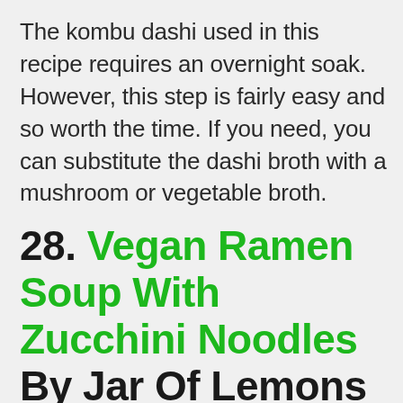The kombu dashi used in this recipe requires an overnight soak. However, this step is fairly easy and so worth the time. If you need, you can substitute the dashi broth with a mushroom or vegetable broth.
28. Vegan Ramen Soup With Zucchini Noodles By Jar Of Lemons